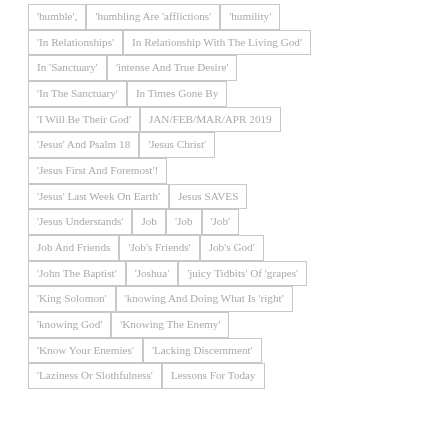'humble'
'humbling Are 'afflictions'
'humility'
'In Relationships'
In Relationship With The Living God'
In 'Sanctuary'
'intense And True Desire'
'In The Sanctuary'
In Times Gone By
'I Will Be Their God'
JAN/FEB/MAR/APR 2019
'Jesus' And Psalm 18
'Jesus Christ'
'Jesus First And Foremost'!
'Jesus' Last Week On Earth'
Jesus SAVES
'Jesus Understands'
Job
'Job
'Job'
Job And Friends
'Job's Friends'
Job's God'
'John The Baptist'
'Joshua'
'juicy Tidbits' Of 'grapes'
'King Solomon'
'knowing And Doing What Is 'right'
'knowing God'
'Knowing The Enemy'
'Know Your Enemies'
'Lacking Discernment'
'Laziness Or Slothfulness'
Lessons For Today